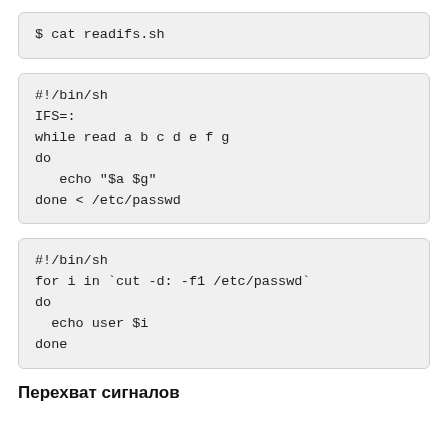$ cat readifs.sh
#!/bin/sh
IFS=:
while read a b c d e f g
do
   echo "$a $g"
done < /etc/passwd
#!/bin/sh
for i in `cut -d: -f1 /etc/passwd`
do
  echo user $i
done
Перехват сигналов